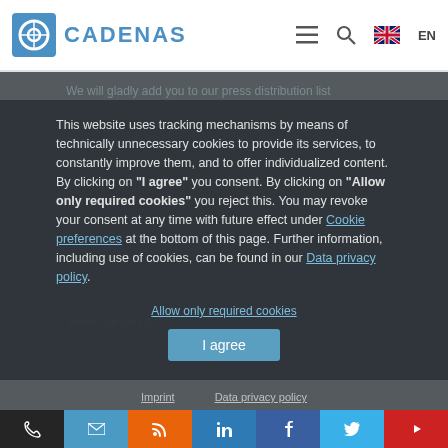CADENAS
We will gladly add you to our press distribution list
This website uses tracking mechanisms by means of technically unnecessary cookies to provide its services, to constantly improve them, and to offer individualized content. By clicking on "I agree" you consent. By clicking on "Allow only required cookies" you reject this. You may revoke your consent at any time with future effect under Cookie preferences at the bottom of this page. Further information, including use of cookies, can be found in our Data privacy policy.
Allow only required cookies
I agree
NEWS-ARCHIVE
In the News
Imprint   Data privacy policy